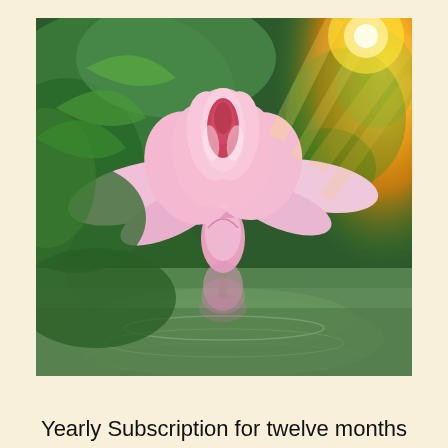[Figure (photo): A pink lotus flower reflected in water, with green lily pads and a bright golden/yellow sunlight bokeh in the background on the right side. The flower is in full bloom with a bud below it. The reflection of the lotus is visible in the rippling water surface.]
Yearly Subscription for twelve months